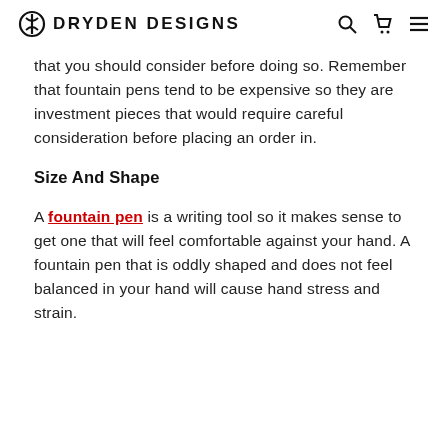DRYDEN DESIGNS
that you should consider before doing so. Remember that fountain pens tend to be expensive so they are investment pieces that would require careful consideration before placing an order in.
Size And Shape
A fountain pen is a writing tool so it makes sense to get one that will feel comfortable against your hand. A fountain pen that is oddly shaped and does not feel balanced in your hand will cause hand stress and strain.